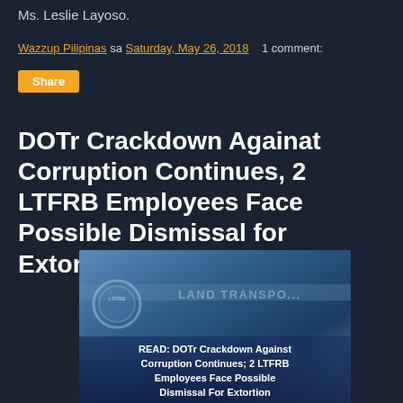Ms. Leslie Layoso.
Wazzup Pilipinas sa Saturday, May 26, 2018   1 comment:
Share
DOTr Crackdown Againat Corruption Continues, 2 LTFRB Employees Face Possible Dismissal for Extortion
[Figure (photo): Photo of LTFRB (Land Transportation Franchising and Regulatory Board) signage/building with overlay text reading: READ: DOTr Crackdown Against Corruption Continues; 2 LTFRB Employees Face Possible Dismissal For Extortion]